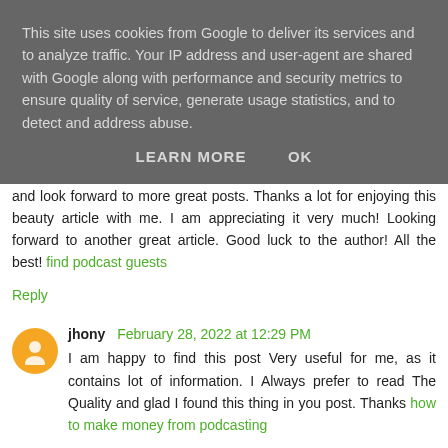This site uses cookies from Google to deliver its services and to analyze traffic. Your IP address and user-agent are shared with Google along with performance and security metrics to ensure quality of service, generate usage statistics, and to detect and address abuse.
LEARN MORE   OK
and look forward to more great posts. Thanks a lot for enjoying this beauty article with me. I am appreciating it very much! Looking forward to another great article. Good luck to the author! All the best! find podcast guests
Reply
jhony  February 28, 2022 at 12:29 PM
I am happy to find this post Very useful for me, as it contains lot of information. I Always prefer to read The Quality and glad I found this thing in you post. Thanks how to make money from podcasting